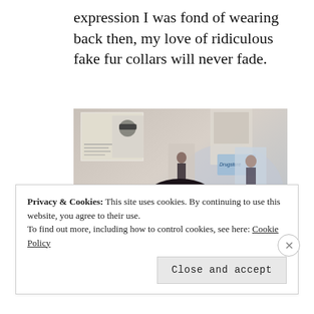expression I was fond of wearing back then, my love of ridiculous fake fur collars will never fade.
[Figure (photo): A young woman with a short dark bob haircut wearing a fur collar, seated in front of a wall covered in posters and clippings including images of musicians and a Drugstore poster.]
Privacy & Cookies: This site uses cookies. By continuing to use this website, you agree to their use. To find out more, including how to control cookies, see here: Cookie Policy
Close and accept